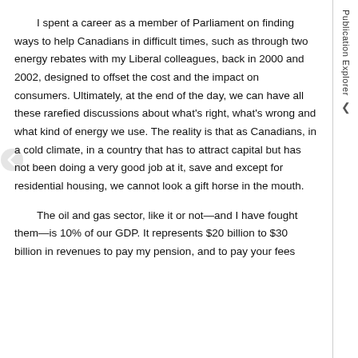I spent a career as a member of Parliament on finding ways to help Canadians in difficult times, such as through two energy rebates with my Liberal colleagues, back in 2000 and 2002, designed to offset the cost and the impact on consumers. Ultimately, at the end of the day, we can have all these rarefied discussions about what's right, what's wrong and what kind of energy we use. The reality is that as Canadians, in a cold climate, in a country that has to attract capital but has not been doing a very good job at it, save and except for residential housing, we cannot look a gift horse in the mouth.
The oil and gas sector, like it or not—and I have fought them—is 10% of our GDP. It represents $20 billion to $30 billion in revenues to pay my pension, and to pay your fees